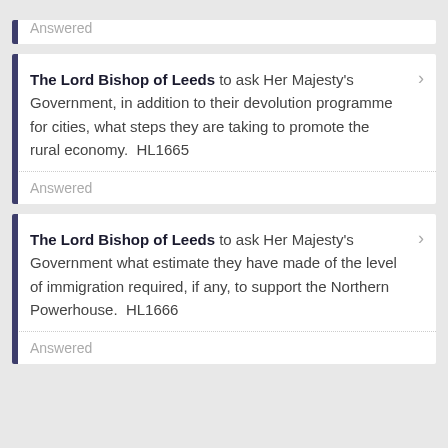Answered
The Lord Bishop of Leeds to ask Her Majesty's Government, in addition to their devolution programme for cities, what steps they are taking to promote the rural economy.  HL1665
Answered
The Lord Bishop of Leeds to ask Her Majesty's Government what estimate they have made of the level of immigration required, if any, to support the Northern Powerhouse.  HL1666
Answered